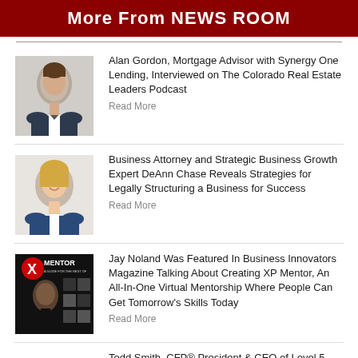More From NEWS ROOM
Alan Gordon, Mortgage Advisor with Synergy One Lending, Interviewed on The Colorado Real Estate Leaders Podcast
Read More
Business Attorney and Strategic Business Growth Expert DeAnn Chase Reveals Strategies for Legally Structuring a Business for Success
Read More
Jay Noland Was Featured In Business Innovators Magazine Talking About Creating XP Mentor, An All-In-One Virtual Mentorship Where People Can Get Tomorrow's Skills Today
Read More
Todd Smith, CFP® President & CEO of Level 5 Financial Interviewed on Podcast Discussing...